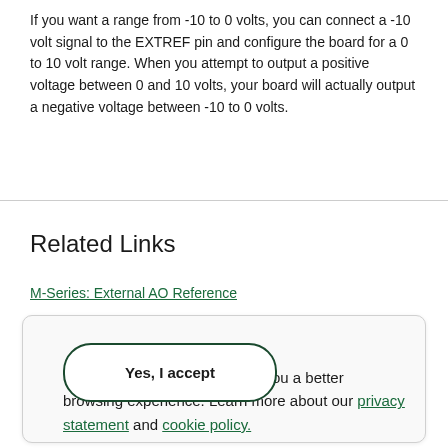If you want a range from -10 to 0 volts, you can connect a -10 volt signal to the EXTREF pin and configure the board for a 0 to 10 volt range. When you attempt to output a positive voltage between 0 and 10 volts, your board will actually output a negative voltage between -10 to 0 volts.
Related Links
M-Series: External AO Reference
This site uses cookies to offer you a better browsing experience. Learn more about our privacy statement and cookie policy.
Yes, I accept